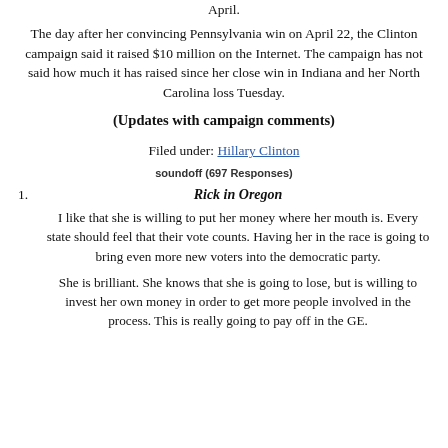April.
The day after her convincing Pennsylvania win on April 22, the Clinton campaign said it raised $10 million on the Internet. The campaign has not said how much it has raised since her close win in Indiana and her North Carolina loss Tuesday.
(Updates with campaign comments)
Filed under: Hillary Clinton
soundoff (697 Responses)
Rick in Oregon
I like that she is willing to put her money where her mouth is. Every state should feel that their vote counts. Having her in the race is going to bring even more new voters into the democratic party.
She is brilliant. She knows that she is going to lose, but is willing to invest her own money in order to get more people involved in the process. This is really going to pay off in the GE.